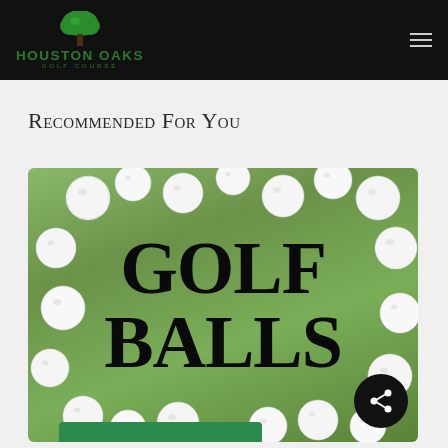Houston Oaks Golf Course
Recommended For You
[Figure (photo): Photo of golf balls scattered on green grass with large bold text reading 'GOLF BALLS' overlaid. A green tray visible at the bottom. A share button (dark circle with share icon) in the bottom right corner.]